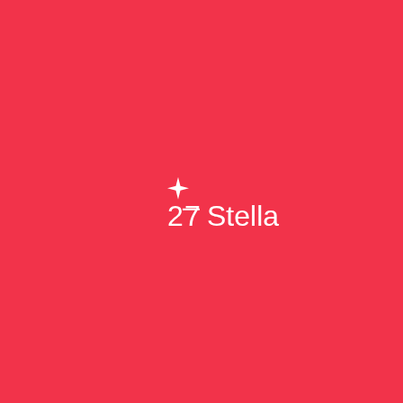[Figure (logo): 27Stella company logo on a red background. The logo features a white 4-pointed star above and to the left of white text reading '27Stella', where the '7' has a stylized horizontal line through it resembling the number 7 with a crossbar, integrated with the star motif.]